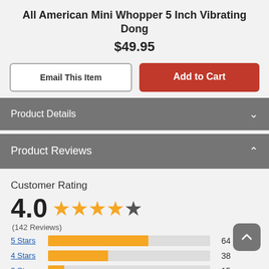All American Mini Whopper 5 Inch Vibrating Dong
$49.95
Email This Item
Add to Cart
Product Details
Product Reviews
Customer Rating
4.0 ★★★★☆ (142 Reviews)
[Figure (bar-chart): Star rating breakdown]